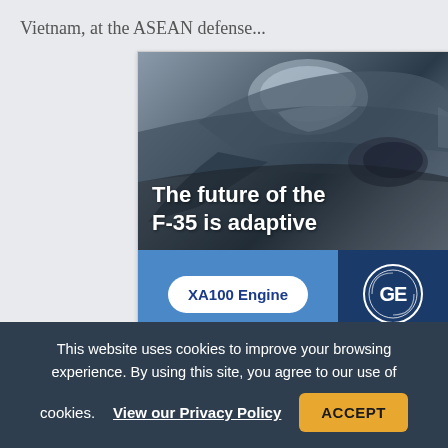Vietnam, at the ASEAN defense...
[Figure (photo): Advertisement showing an F-35 fighter jet with text overlay 'The future of the F-35 is adaptive', XA100 Engine button, and GE logo on dark blue background]
This website uses cookies to improve your browsing experience. By using this site, you agree to our use of cookies. View our Privacy Policy ACCEPT